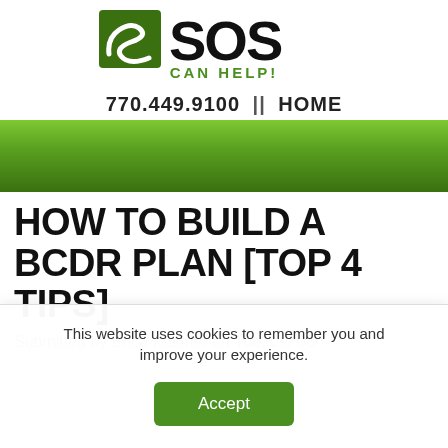[Figure (logo): SOS Can Help! logo with green swoosh icon and bold SOS text, with 'CAN HELP!' tagline in green]
770.449.9100 || HOME
HOW TO BUILD A BCDR PLAN [TOP 4 TIPS]
Submitted by Erica Kastner on Tue, 09/08/
This website uses cookies to remember you and improve your experience.
Accept